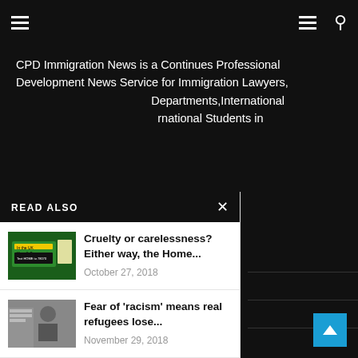≡  ≡ 🔍
CPD Immigration News is a Continues Professional Development News Service for Immigration Lawyers, Departments, International Students in
READ ALSO
Cruelty or carelessness? Either way, the Home... October 27, 2018
Fear of 'racism' means real refugees lose... November 29, 2018
'75,000 Russian informants': UK think tank report...